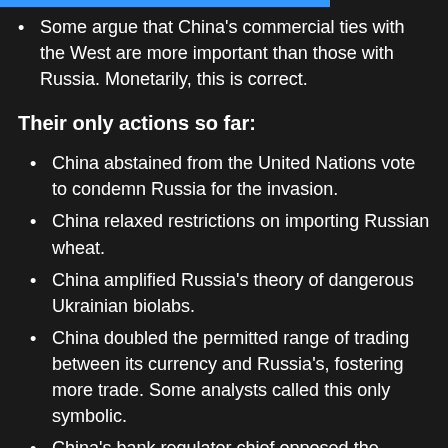Some argue that China's commercial ties with the West are more important than those with Russia. Monetarily, this is correct.
Their only actions so far:
China abstained from the United Nations vote to condemn Russia for the invasion.
China relaxed restrictions on importing Russian wheat.
China amplified Russia's theory of dangerous Ukrainian biolabs.
China doubled the permitted range of trading between its currency and Russia's, fostering more trade. Some analysts called this only symbolic.
China's bank regulator chief opposed the sanctions.